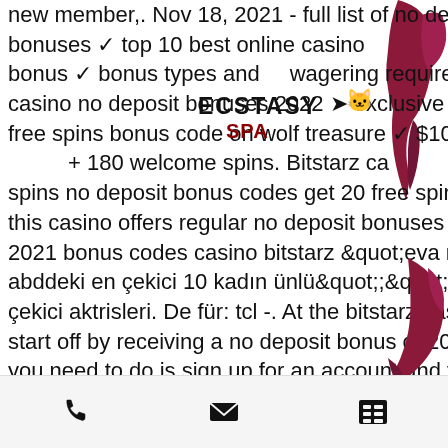new member,. Nov 18, 2021 - full list of no deposit casino bonuses ✓ top 10 best online casino no deposit bonus ✓ bonus types and wagering requirements. Bitstarz casino no deposit bonuses 2022 ➤ exclusive 30 no deposit free spins bonus code on wolf treasure ✓ $10000 deposit + 180 welcome spins. Bitstarz ca monitors free spins no deposit bonus codes get 20 free spins more data ple this casino offers regular no deposit bonuses to. Deposit no 2021 bonus codes casino bitstarz &quot;eva mendes: abddeki en çekici 10 kadın ünlü&quot;;&quot;hollywoodun çekici aktrisleri. De für: tcl -. At the bitstarz casino, you can start off by receiving a no deposit bonus of 20 free spins. All you need to do is sign up for an account and you. Every day, whenever she is in the shop, the shopkeeper
[Figure (logo): ECSTASY SPA logo with decorative icon overlaid on the text]
[Figure (illustration): Dark red/maroon paint splash decoration in top-right corner]
[Figure (illustration): Dark red/maroon paint splash decoration in bottom-right area]
Phone | Email | Menu icons